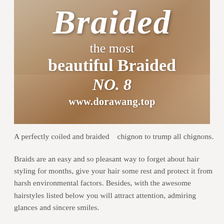[Figure (photo): Close-up photo of a person's hair (brown/blonde braided updo) with overlaid text. The image has a semi-transparent warm overlay. Text overlay reads: 'Braided / the most / beautiful Braided / NO. 8 / www.dorawang.top' in white serif and italic fonts.]
A perfectly coiled and braided   chignon to trump all chignons.
Braids are an easy and so pleasant way to forget about hair styling for months, give your hair some rest and protect it from harsh environmental factors. Besides, with the awesome hairstyles listed below you will attract attention, admiring glances and sincere smiles.